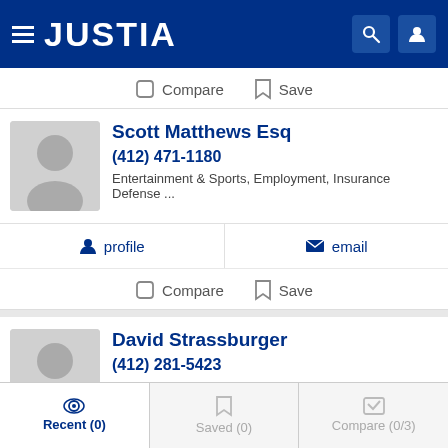JUSTIA
Compare  Save
Scott Matthews Esq
(412) 471-1180
Entertainment & Sports, Employment, Insurance Defense ...
profile  email
Compare  Save
David Strassburger
(412) 281-5423
Entertainment & Sports
Recent (0)  Saved (0)  Compare (0/3)